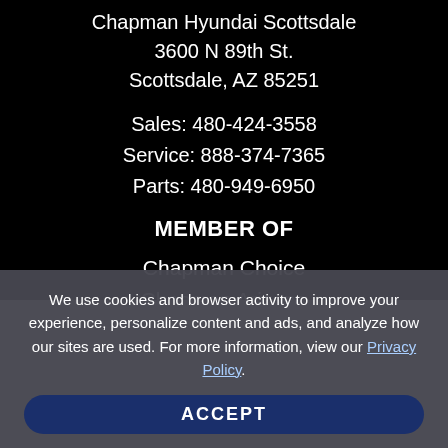Chapman Hyundai Scottsdale
3600 N 89th St.
Scottsdale, AZ 85251
Sales: 480-424-3558
Service: 888-374-7365
Parts: 480-949-6950
MEMBER OF
Chapman Choice
Chapman Arizona
We use cookies and browser activity to improve your experience, personalize content and ads, and analyze how our sites are used. For more information, view our Privacy Policy.
ACCEPT